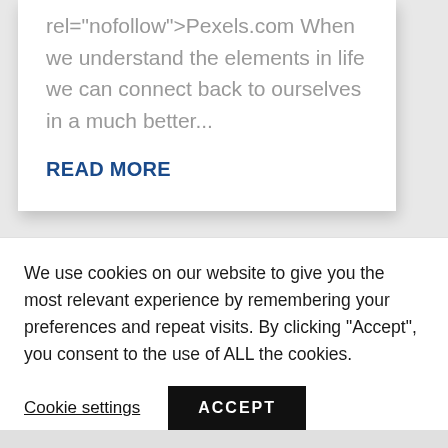rel="nofollow">Pexels.com When we understand the elements in life we can connect back to ourselves in a much better...
READ MORE
EXPAND YOUR POTENTIAL
TIs the season to offer deep
We use cookies on our website to give you the most relevant experience by remembering your preferences and repeat visits. By clicking "Accept", you consent to the use of ALL the cookies.
Cookie settings
ACCEPT